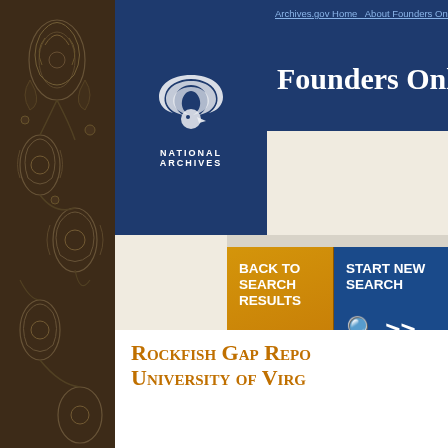[Figure (illustration): Decorative dark brown floral/paisley pattern panel on left side of page]
[Figure (logo): National Archives eagle logo with text NATIONAL ARCHIVES below]
Archives.gov Home   About Founders Online
Founders Online
BACK TO SEARCH RESULTS <<magnify
START NEW SEARCH magnify>>
PREVIOUS SEARCH RESULT   NEXT SEARCH
You searched for: “Ἔπεα Πτερόεντα. or, the Dive... filters: Author="Brockenbrough, William" AND Peri... sorted by: date (ascending)
Permanent link for this document: https://founders.archives.gov/documents/Jefferson/03-
Rockfish Gap Repo... University of Virg...